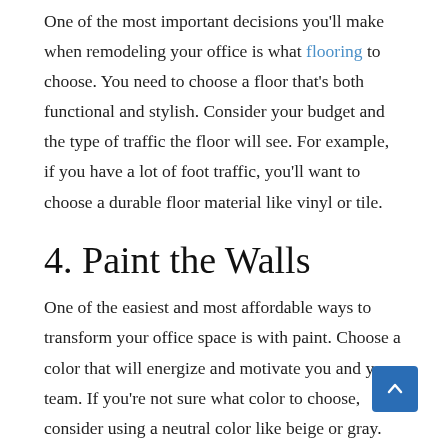One of the most important decisions you'll make when remodeling your office is what flooring to choose. You need to choose a floor that's both functional and stylish. Consider your budget and the type of traffic the floor will see. For example, if you have a lot of foot traffic, you'll want to choose a durable floor material like vinyl or tile.
4. Paint the Walls
One of the easiest and most affordable ways to transform your office space is with paint. Choose a color that will energize and motivate you and your team. If you're not sure what color to choose, consider using a neutral color like beige or gray.
5. Add Wall...